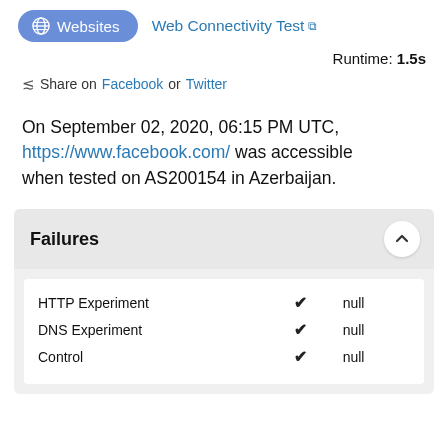Websites | Web Connectivity Test
Runtime: 1.5s
Share on Facebook or Twitter
On September 02, 2020, 06:15 PM UTC, https://www.facebook.com/ was accessible when tested on AS200154 in Azerbaijan.
Failures
|  |  |  |
| --- | --- | --- |
| HTTP Experiment | ✔ | null |
| DNS Experiment | ✔ | null |
| Control | ✔ | null |